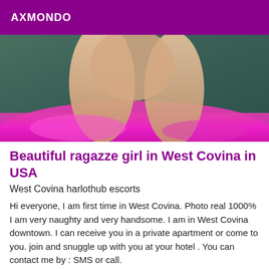AXMONDO
[Figure (photo): Photo of a woman posing on bright pink satin fabric with a teal/dark background, showing legs and partial torso with a tattoo on the arm.]
Beautiful ragazze girl in West Covina in USA
West Covina harlothub escorts
Hi everyone, I am first time in West Covina. Photo real 1000% I am very naughty and very handsome. I am in West Covina downtown. I can receive you in a private apartment or come to you. join and snuggle up with you at your hotel . You can contact me by : SMS or call.